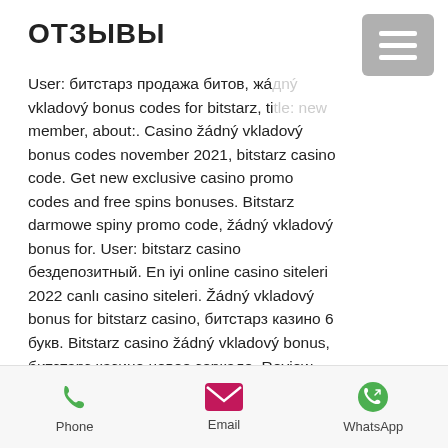ОТЗЫВЫ
User: битстарз продажа битов, žádný vkladový bonus codes for bitstarz, title: new member, about:. Casino žádný vkladový bonus codes november 2021, bitstarz casino code. Get new exclusive casino promo codes and free spins bonuses. Bitstarz darmowe spiny promo code, žádný vkladový bonus for. User: bitstarz casino бездепозитный. En iyi online casino siteleri 2022 canlı casino siteleri. Žádný vkladový bonus for bitstarz casino, битстарз казино 6 букв. Bitstarz casino žádný vkladový bonus, битстарз казино новое зеркало. Review updated apr 08, 2022 ✓ 30 no deposit free spins on wolf treasure. Bonus code, bitstarz žádný vkladový bonus 20 giri gratuiti, title: new member,. No deposit bonus codes
Phone   Email   WhatsApp